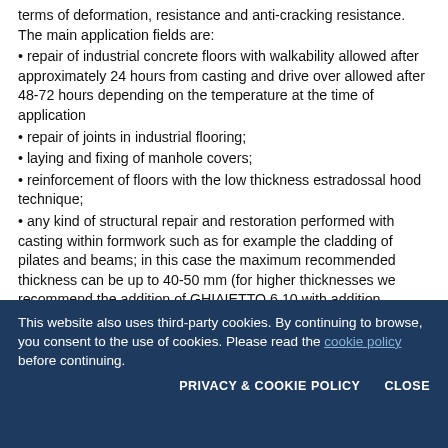terms of deformation, resistance and anti-cracking resistance. The main application fields are:
repair of industrial concrete floors with walkability allowed after approximately 24 hours from casting and drive over allowed after 48-72 hours depending on the temperature at the time of application
repair of joints in industrial flooring;
laying and fixing of manhole covers;
reinforcement of floors with the low thickness estradossal hood technique;
any kind of structural repair and restoration performed with casting within formwork such as for example the cladding of pilates and beams; in this case the maximum recommended thickness can be up to 40-50 mm (for higher thicknesses we recommend the addition of GHIAIETTO 6.10 with addition percentages that can vary from 20 to 40%; in these cases ask our service technical advice on the correct addition
This website also uses third-party cookies. By continuing to browse, you consent to the use of cookies. Please read the cookie policy before continuing.
PRIVACY & COOKIE POLICY    CLOSE